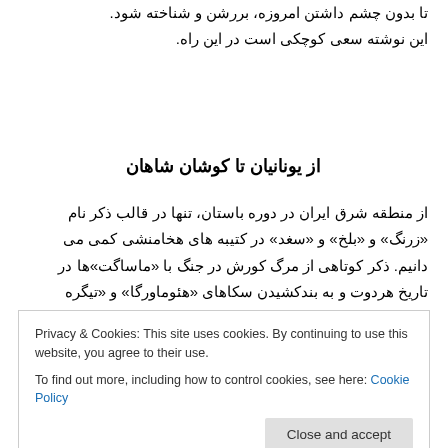تا بدون چشم داشتن امروزه، بررشن و شناخته شود. این نوشته سعی کوچکی است در این راه.
از یونانیان تا کوشان شاهان
از منطقه شرق ایران در دوره باستان، تنها در قالب ذکر نام «زرنگ» و «بلخ» و «سغد» در کتیبه های هخامنشی کمی می دانیم. ذکر کوتاهی از مرگ کورش در جنگ با «ماساگت»ها در تاریخ هردوت و به بندکشیدن سکاهای «هئوماورگا» و «تیگره
Privacy & Cookies: This site uses cookies. By continuing to use this website, you agree to their use.
To find out more, including how to control cookies, see here: Cookie Policy
Close and accept